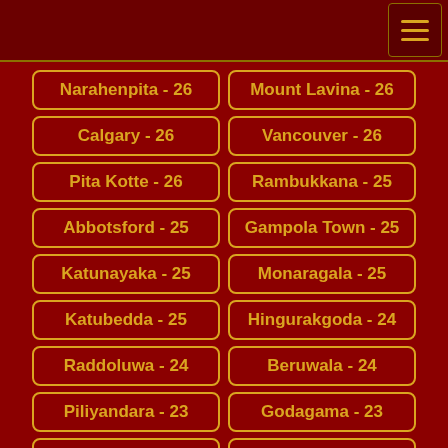Narahenpita - 26
Mount Lavina - 26
Calgary - 26
Vancouver - 26
Pita Kotte - 26
Rambukkana - 25
Abbotsford - 25
Gampola Town - 25
Katunayaka - 25
Monaragala - 25
Katubedda - 25
Hingurakgoda - 24
Raddoluwa - 24
Beruwala - 24
Piliyandara - 23
Godagama - 23
Kuruwita - 23
Deniyaya - 22
Polgasowita - 22
Anamaduwa - 22
Narre Warren - 22
Peradenya - 22